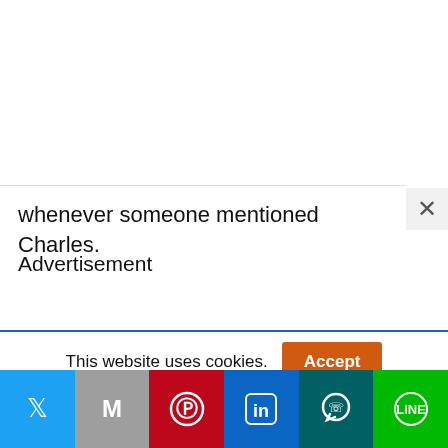whenever someone mentioned Charles.
Advertisement
This website uses cookies.
[Figure (screenshot): Cookie accept button (orange, labeled Accept)]
[Figure (infographic): Social share bar with Twitter, Gmail/Google, Pinterest, LinkedIn, WhatsApp, and LINE buttons]